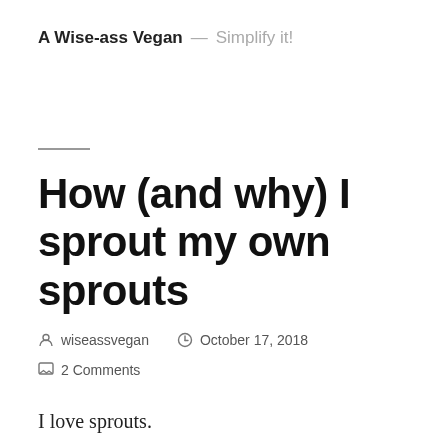A Wise-ass Vegan — Simplify it!
How (and why) I sprout my own sprouts
wiseassvegan   October 17, 2018   2 Comments
I love sprouts.